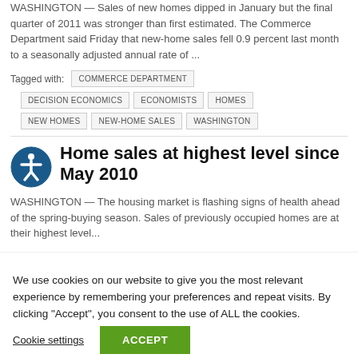WASHINGTON — Sales of new homes dipped in January but the final quarter of 2011 was stronger than first estimated. The Commerce Department said Friday that new-home sales fell 0.9 percent last month to a seasonally adjusted annual rate of ...
Tagged with: COMMERCE DEPARTMENT DECISION ECONOMICS ECONOMISTS HOMES NEW HOMES NEW-HOME SALES WASHINGTON
Home sales at highest level since May 2010
WASHINGTON — The housing market is flashing signs of health ahead of the spring-buying season. Sales of previously occupied homes are at their highest level...
We use cookies on our website to give you the most relevant experience by remembering your preferences and repeat visits. By clicking "Accept", you consent to the use of ALL the cookies.
Cookie settings
ACCEPT